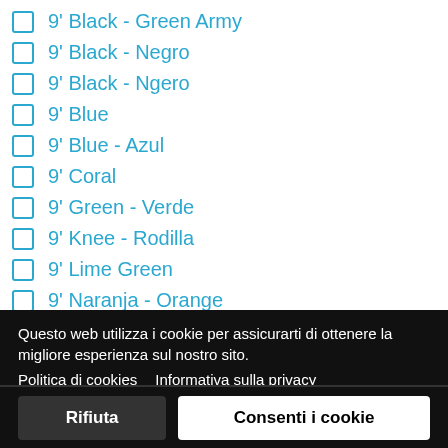9' Black - Green Army
9' Black - Negro
9' Black - Ngero
9' Blue
9' Blue - Azul
9' Coral
9' Green - Verde
9' Knee - Rodilla
9' Lime Green
9' Naranja - Orange
9' Negro
9' Negro - Black
9' Orange
9' Red - Rojo
Questo web utilizza i cookie per assicurarti di ottenere la migliore esperienza sul nostro sito. Politica di cookies   Informativa sulla privacy
Rifiuta   Consenti i cookie